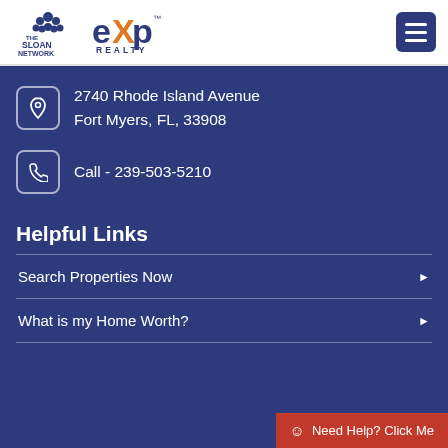[Figure (logo): The Sloan Network and eXp Realty logos in the header]
2740 Rhode Island Avenue
Fort Myers, FL, 33908
Call - 239-503-5210
Helpful Links
Search Properties Now
What is my Home Worth?
Need Help? Click Me